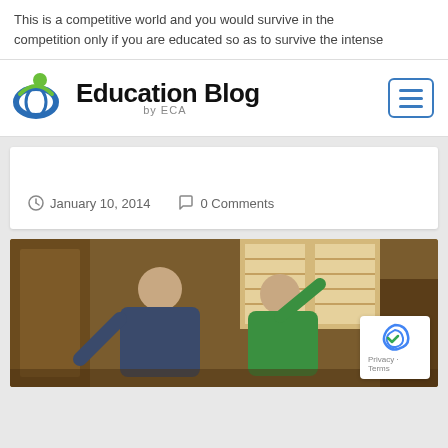This is a competitive world and you would survive in the competition only if you are educated so as to survive the intense
Education Blog by ECA
January 10, 2014   0 Comments
[Figure (photo): A young boy and an adult man (likely father and son) laughing and celebrating together indoors, with wooden furniture and a window in the background. A reCAPTCHA badge is visible in the bottom-right corner.]